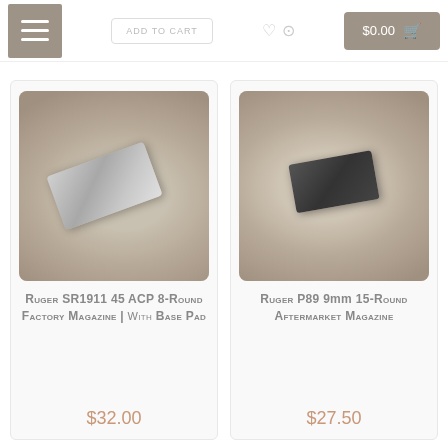[Figure (screenshot): E-commerce page header with hamburger menu button, Add to Cart button, wishlist icons, and cart button showing $0.00]
[Figure (photo): Silver Ruger SR1911 45 ACP 8-round factory magazine with base pad, displayed on burlap background]
Ruger SR1911 45 ACP 8-Round Factory Magazine | with Base Pad
$32.00
[Figure (photo): Dark Ruger P89 9mm 15-round aftermarket magazine displayed on burlap background]
Ruger P89 9mm 15-Round Aftermarket Magazine
$27.50